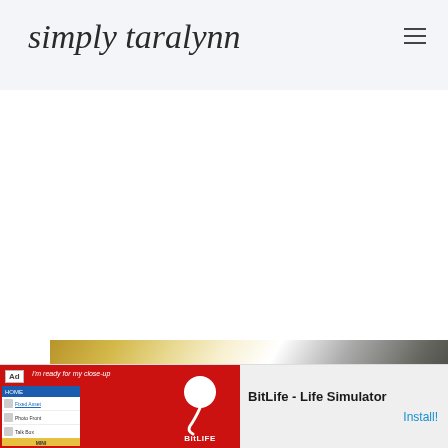simply taralynn
[Figure (photo): Partial photo of a person visible at the bottom of the page, showing the top of a head against a bright background]
[Figure (screenshot): Advertisement banner for BitLife - Life Simulator app, showing a red background with app icon and install button]